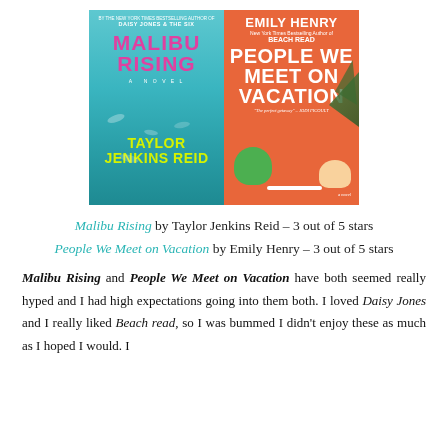[Figure (illustration): Two book covers side by side: Left cover is 'Malibu Rising' by Taylor Jenkins Reid with teal/ocean background and pink and yellow text. Right cover is 'People We Meet on Vacation' by Emily Henry with orange background, white text, and illustration of two people lounging on beach chairs.]
Malibu Rising by Taylor Jenkins Reid – 3 out of 5 stars
People We Meet on Vacation by Emily Henry – 3 out of 5 stars
Malibu Rising and People We Meet on Vacation have both seemed really hyped and I had high expectations going into them both. I loved Daisy Jones and I really liked Beach read, so I was bummed I didn't enjoy these as much as I hoped I would. I